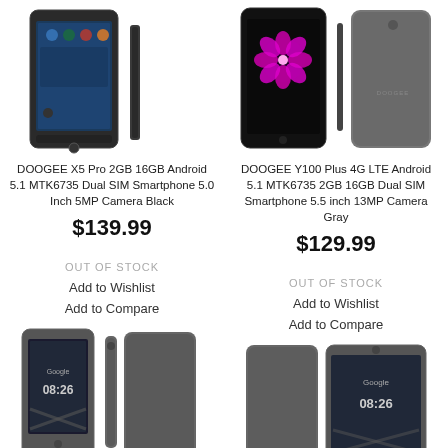[Figure (photo): DOOGEE X5 Pro smartphone shown from front and side angle, black color]
DOOGEE X5 Pro 2GB 16GB Android 5.1 MTK6735 Dual SIM Smartphone 5.0 Inch 5MP Camera Black
$139.99
OUT OF STOCK
Add to Wishlist
Add to Compare
[Figure (photo): DOOGEE Y100 Plus smartphone shown from front and back, gray color]
DOOGEE Y100 Plus 4G LTE Android 5.1 MTK6735 2GB 16GB Dual SIM Smartphone 5.5 inch 13MP Camera Gray
$129.99
OUT OF STOCK
Add to Wishlist
Add to Compare
[Figure (photo): DOOGEE smartphone shown from front and side, gray color, Google screen visible]
[Figure (photo): DOOGEE smartphone shown from front, gray color, Google screen visible]